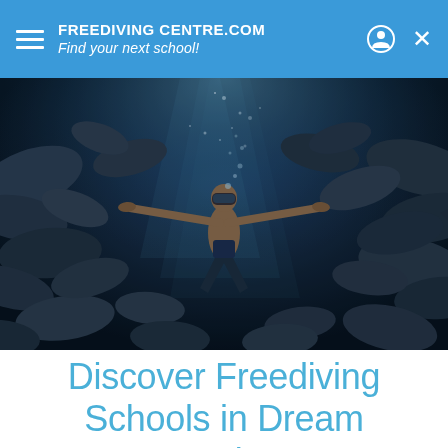FREEDIVING CENTRE.COM — Find your next school!
[Figure (photo): Underwater photo of a freediver surrounded by a large school of fish in dark blue water with light rays and bubbles]
Discover Freediving Schools in Dream Locations